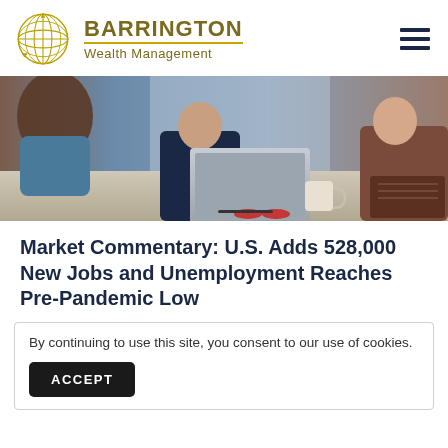BARRINGTON Wealth Management
[Figure (photo): Business meeting scene with people gathered around a laptop on a table, with coffee mug and glasses visible]
Market Commentary: U.S. Adds 528,000 New Jobs and Unemployment Reaches Pre-Pandemic Low
By continuing to use this site, you consent to our use of cookies.
ACCEPT